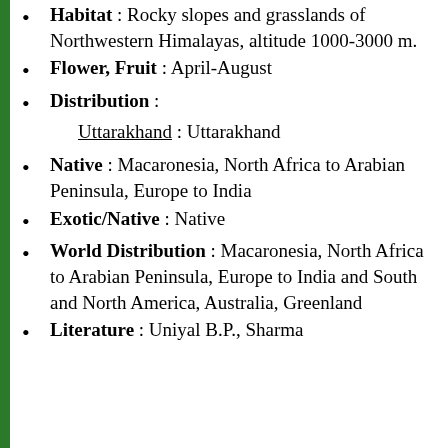Habitat : Rocky slopes and grasslands of Northwestern Himalayas, altitude 1000-3000 m.
Flower, Fruit : April-August
Distribution :
Uttarakhand : Uttarakhand
Native : Macaronesia, North Africa to Arabian Peninsula, Europe to India
Exotic/Native : Native
World Distribution : Macaronesia, North Africa to Arabian Peninsula, Europe to India and South and North America, Australia, Greenland
Literature : Uniyal B.P., Sharma